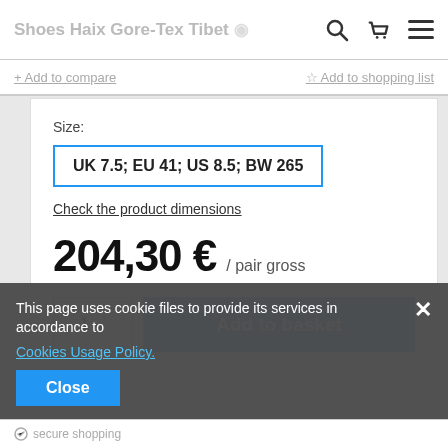Shoes Haix Gore-Tex Tibet ... 012
+ Add to compare  ☆ Add to shopping list
Size:
UK 7.5; EU 41; US 8.5; BW 265
Check the product dimensions
204,30 € / pair gross
1  ∨  Add to basket
This page uses cookie files to provide its services in accordance to Cookies Usage Policy.
Close